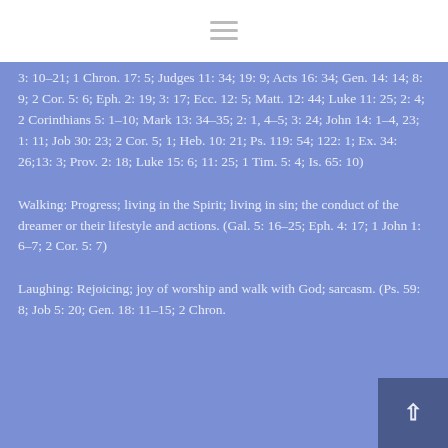[Figure (other): Hamburger menu icon (three horizontal lines) on white background at top of page]
3: 10-21; 1 Chron. 17: 5; Judges 11: 34; 19: 9; Acts 16: 34; Gen. 14: 14; 8: 9; 2 Cor. 5: 6; Eph. 2: 19; 3: 17; Ecc. 12: 5; Matt. 12: 44; Luke 11: 25; 2: 4; 2 Corinthians 5: 1-10; Mark 13: 34-35; 2: 1, 4-5; 3: 24; John 14: 1-4, 23; 1: 11; Job 30: 23; 2 Cor. 5; 1; Heb. 10: 21; Ps. 119: 54; 122: 1; Ex. 34: 26;13: 3; Prov. 2: 18; Luke 15: 6; 11: 25; 1 Tim. 5: 4; Is. 65: 10)
Walking: Progress; living in the Spirit; living in sin; the conduct of the dreamer or their lifestyle and actions. (Gal. 5: 16-25; Eph. 4: 17; 1 John 1: 6-7; 2 Cor. 5: 7)
Laughing: Rejoicing; joy of worship and walk with God; sarcasm. (Ps. 59: 8; Job 5: 20; Gen. 18: 11-15; 2 Chron.